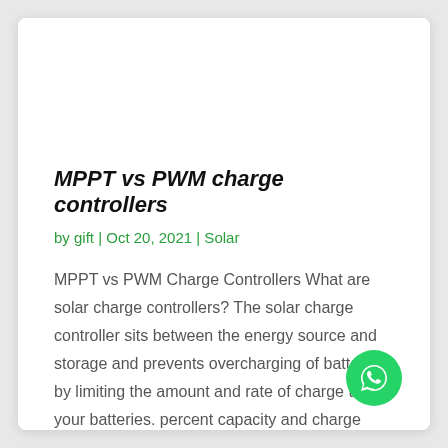MPPT vs PWM charge controllers
by gift | Oct 20, 2021 | Solar
MPPT vs PWM Charge Controllers What are solar charge controllers? The solar charge controller sits between the energy source and storage and prevents overcharging of batteries by limiting the amount and rate of charge to your batteries. percent capacity and charge the...